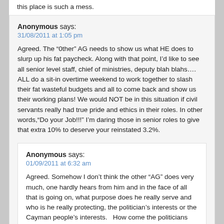this place is such a mess.
Anonymous says:
31/08/2011 at 1:05 pm
Agreed. The “0ther” AG needs to show us what HE does to slurp up his fat paycheck. Along with that point, I’d like to see all senior level staff, chief of ministries, deputy blah blahs…. ALL do a sit-in overtime weekend to work together to slash their fat wasteful budgets and all to come back and show us their working plans! We would NOT be in this situation if civil servants really had true pride and ethics in their roles. In other words,"Do your Job!!!" I’m daring those in senior roles to give that extra 10% to deserve your reinstated 3.2%.
Anonymous says:
01/09/2011 at 6:32 am
Agreed. Somehow I don’t think the other "AG" does very much, one hardly hears from him and in the face of all that is going on, what purpose does he really serve and who is he really protecting, the politician’s interests or the Cayman people’s interests.   How come the politicians who circumvent rules never get hauled over the coals by this other "AG", but only the Auditor General seems to be doing his job?